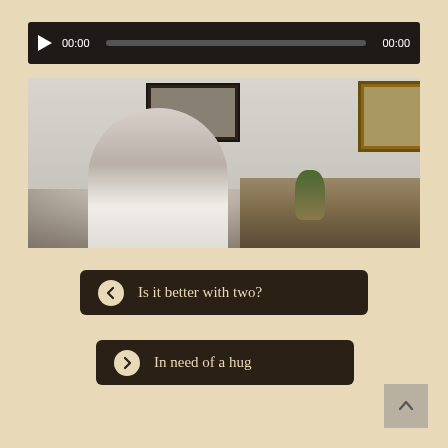[Figure (screenshot): Audio player bar with play button, 00:00 timestamp, progress bar, and 00:00 end time on dark background]
[Figure (photo): Elderly woman with white hair and glasses sitting in a chair wearing headphones, in a home setting with framed photos on the wall and a plant on a table]
Is it better with two?
In need of a hug